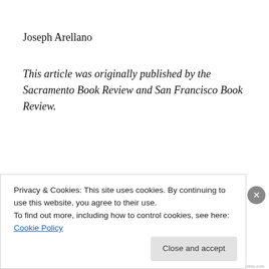Joseph Arellano
This article was originally published by the Sacramento Book Review and San Francisco Book Review.
April 14, 2010
1 Reply
Privacy & Cookies: This site uses cookies. By continuing to use this website, you agree to their use.
To find out more, including how to control cookies, see here: Cookie Policy
Close and accept